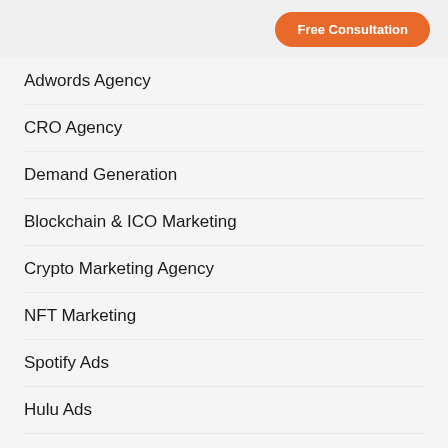Free Consultation
Adwords Agency
CRO Agency
Demand Generation
Blockchain & ICO Marketing
Crypto Marketing Agency
NFT Marketing
Spotify Ads
Hulu Ads
Amazon Ads